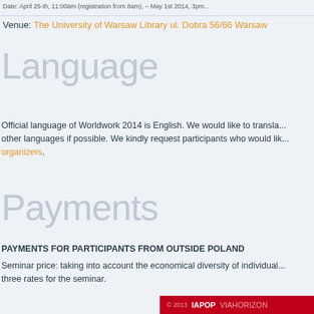Date: April 25-th, 11:00am (registration from 8am), – May 1st 2014, 3pm...
Venue: The University of Warsaw Library ul. Dobra 56/66 Warsaw
Language
Official language of Worldwork 2014 is English. We would like to translate into other languages if possible. We kindly request participants who would like to organizers.
Payments
PAYMENTS FOR PARTICIPANTS FROM OUTSIDE POLAND
Seminar price: taking into account the economical diversity of individual three rates for the seminar.
© 2013 IAPOP VIAHORIZON